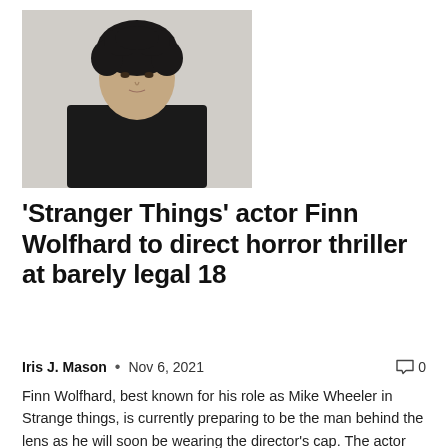[Figure (photo): Young man with curly dark hair wearing a black long-sleeve shirt, photographed against a light grey background.]
'Stranger Things' actor Finn Wolfhard to direct horror thriller at barely legal 18
Iris J. Mason  •  Nov 6, 2021    💬 0
Finn Wolfhard, best known for his role as Mike Wheeler in Strange things, is currently preparing to be the man behind the lens as he will soon be wearing the director's cap. The actor mentioned in a recent interview with NME that he...